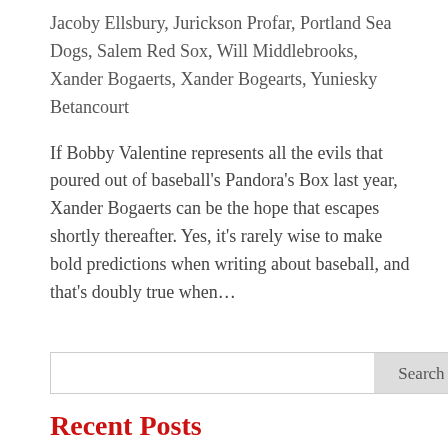Jacoby Ellsbury, Jurickson Profar, Portland Sea Dogs, Salem Red Sox, Will Middlebrooks, Xander Bogaerts, Xander Bogearts, Yuniesky Betancourt
If Bobby Valentine represents all the evils that poured out of baseball's Pandora's Box last year, Xander Bogaerts can be the hope that escapes shortly thereafter. Yes, it's rarely wise to make bold predictions when writing about baseball, and that's doubly true when…
Recent Posts